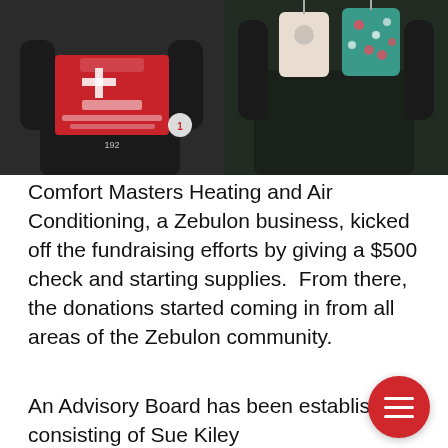[Figure (photo): Two side-by-side photos. Left: person holding a large red box of Huggies Plus diapers (192 count, size 1, Day & Night Protection). Right: person holding up baby clothing items including a floral onesie.]
Comfort Masters Heating and Air Conditioning, a Zebulon business, kicked off the fundraising efforts by giving a $500 check and starting supplies.  From there, the donations started coming in from all areas of the Zebulon community.
An Advisory Board has been established consisting of Sue Kiley